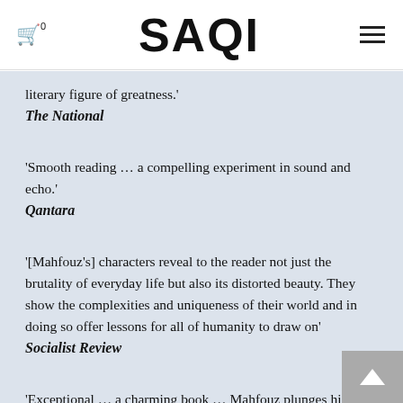SAQI
literary figure of greatness.'
The National
'Smooth reading … a compelling experiment in sound and echo.'
Qantara
'[Mahfouz's] characters reveal to the reader not just the brutality of everyday life but also its distorted beauty. They show the complexities and uniqueness of their world and in doing so offer lessons for all of humanity to draw on'
Socialist Review
'Exceptional … a charming book … Mahfouz plunges his readers into a world gleaming with folktales, moral allegories, and strange, otherworldly occurrences … The Quarter is a recommended read for those who want to